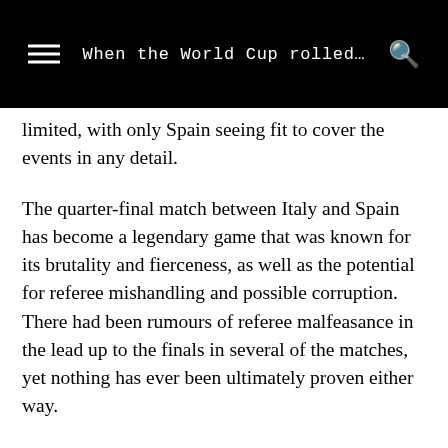When the World Cup rolled…
limited, with only Spain seeing fit to cover the events in any detail.
The quarter-final match between Italy and Spain has become a legendary game that was known for its brutality and fierceness, as well as the potential for referee mishandling and possible corruption. There had been rumours of referee malfeasance in the lead up to the finals in several of the matches, yet nothing has ever been ultimately proven either way.
Ricardo Zamora, the legendary Spanish goalkeeper, was injured in the build-up to the Italians' equaliser, and